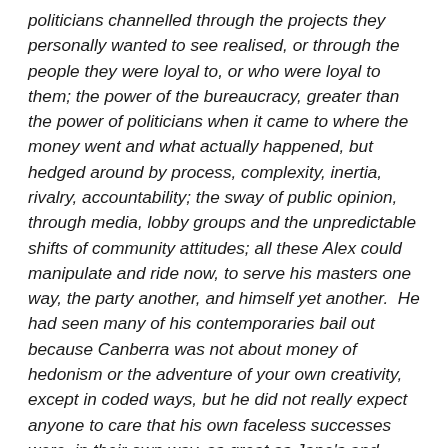politicians channelled through the projects they personally wanted to see realised, or through the people they were loyal to, or who were loyal to them; the power of the bureaucracy, greater than the power of politicians when it came to where the money went and what actually happened, but hedged around by process, complexity, inertia, rivalry, accountability; the sway of public opinion, through media, lobby groups and the unpredictable shifts of community attitudes; all these Alex could manipulate and ride now, to serve his masters one way, the party another, and himself yet another.  He had seen many of his contemporaries bail out because Canberra was not about money of hedonism or the adventure of your own creativity, except in coded ways, but he did not really expect anyone to care that his own faceless successes were, in their own way, as great as Jane's and Ziggy's